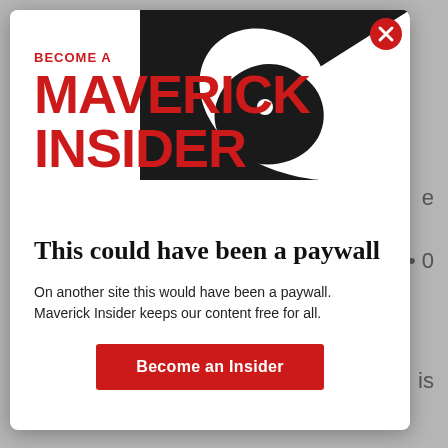[Figure (logo): Maverick Insider promotional modal with large decorative swirl graphic in black and white on the upper right, a close button (X) in red top-right corner, and red bold text 'BECOME A MAVERICK INSIDER' on the left side of the header.]
This could have been a paywall
On another site this would have been a paywall. Maverick Insider keeps our content free for all.
Become an Insider